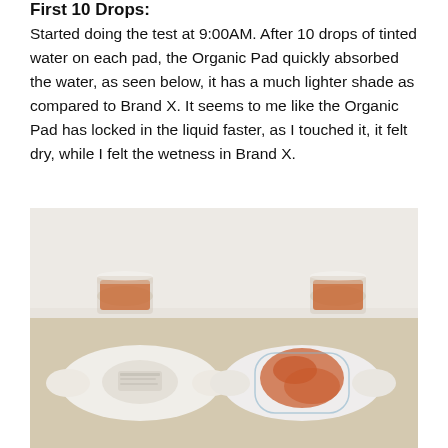First 10 Drops:
Started doing the test at 9:00AM. After 10 drops of tinted water on each pad, the Organic Pad quickly absorbed the water, as seen below, it has a much lighter shade as compared to Brand X. It seems to me like the Organic Pad has locked in the liquid faster, as I touched it, it felt dry, while I felt the wetness in Brand X.
[Figure (photo): Photo showing two pads on a beige surface. On the left is an Organic Pad with a faint, light stain; on the right is Brand X with a vivid reddish-orange stain. Behind each pad is a glass cup containing reddish-orange tinted liquid.]